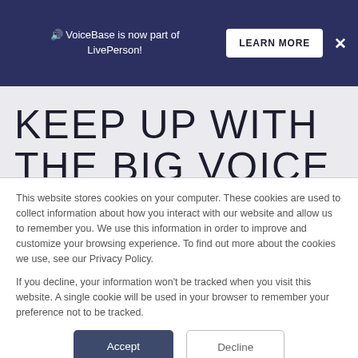🔊 VoiceBase is now part of LivePerson! LEARN MORE ✕
KEEP UP WITH THE BIG VOICE
This website stores cookies on your computer. These cookies are used to collect information about how you interact with our website and allow us to remember you. We use this information in order to improve and customize your browsing experience. To find out more about the cookies we use, see our Privacy Policy.

If you decline, your information won't be tracked when you visit this website. A single cookie will be used in your browser to remember your preference not to be tracked.
Accept
Decline